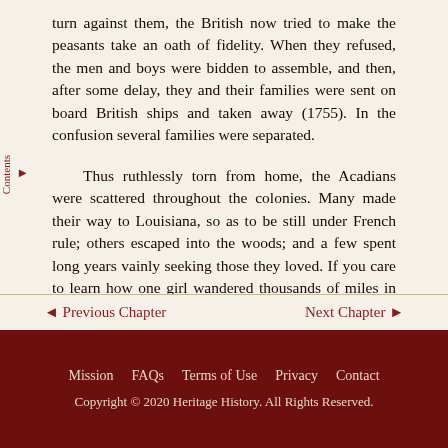turn against them, the British now tried to make the peasants take an oath of fidelity. When they refused, the men and boys were bidden to assemble, and then, after some delay, they and their families were sent on board British ships and taken away (1755). In the confusion several families were separated.
Thus ruthlessly torn from home, the Acadians were scattered throughout the colonies. Many made their way to Louisiana, so as to be still under French rule; others escaped into the woods; and a few spent long years vainly seeking those they loved. If you care to learn how one girl wandered thousands of miles in quest of her lover, you should read Longfellow's beautiful poem Evangeline.
◄ Previous Chapter    Next Chapter ►
Mission  FAQs  Terms of Use  Privacy  Contact
Copyright © 2020 Heritage History. All Rights Reserved.